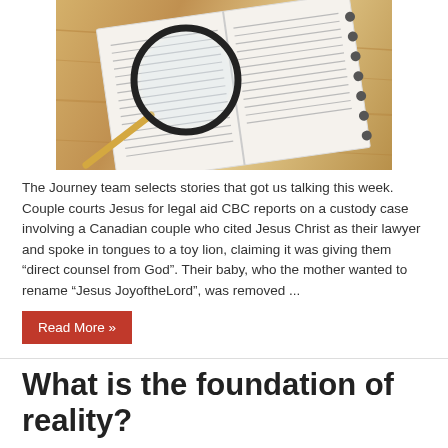[Figure (photo): A magnifying glass resting on an open Bible or book, placed on a wooden table surface]
The Journey team selects stories that got us talking this week. Couple courts Jesus for legal aid CBC reports on a custody case involving a Canadian couple who cited Jesus Christ as their lawyer and spoke in tongues to a toy lion, claiming it was giving them “direct counsel from God”. Their baby, who the mother wanted to rename “Jesus JoyoftheLord”, was removed ...
Read More »
What is the foundation of reality?